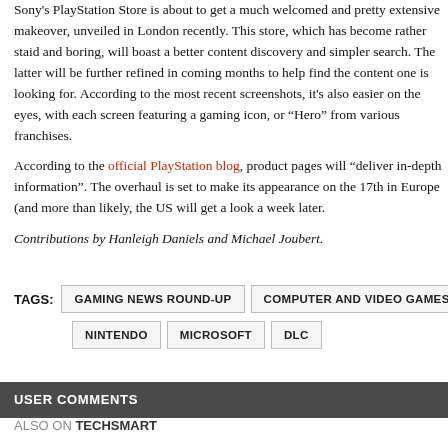Sony's PlayStation Store is about to get a much welcomed and pretty extensive makeover, unveiled in London recently. This store, which has become rather staid and boring, will boast a better content discovery and simpler search. The latter will be further refined in coming months to help find the content one is looking for. According to the most recent screenshots, it's also easier on the eyes, with each screen featuring a gaming icon, or “Hero” from various franchises.
According to the official PlayStation blog, product pages will “deliver in-depth information”. The overhaul is set to make its appearance on the 17th in Europe (and more than likely, the US will get a look a week later.
Contributions by Hanleigh Daniels and Michael Joubert.
TAGS: GAMING NEWS ROUND-UP | COMPUTER AND VIDEO GAMES | SO... | NINTENDO | MICROSOFT | DLC
USER COMMENTS
ALSO ON TECHSMART